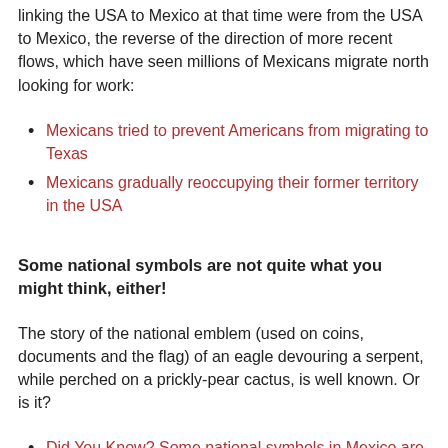linking the USA to Mexico at that time were from the USA to Mexico, the reverse of the direction of more recent flows, which have seen millions of Mexicans migrate north looking for work:
Mexicans tried to prevent Americans from migrating to Texas
Mexicans gradually reoccupying their former territory in the USA
Some national symbols are not quite what you might think, either!
The story of the national emblem (used on coins, documents and the flag) of an eagle devouring a serpent, while perched on a prickly-pear cactus, is well known. Or is it?
Did You Know? Some national symbols in Mexico are not what they seem
For more about Mexico's national symbols, see chapter 18 of Mexican Kaleidoscope: myths, mysteries and mystique